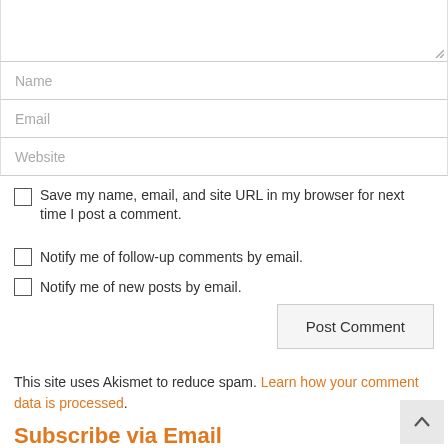Name
Email
Website
Save my name, email, and site URL in my browser for next time I post a comment.
Notify me of follow-up comments by email.
Notify me of new posts by email.
Post Comment
This site uses Akismet to reduce spam. Learn how your comment data is processed.
Subscribe via Email